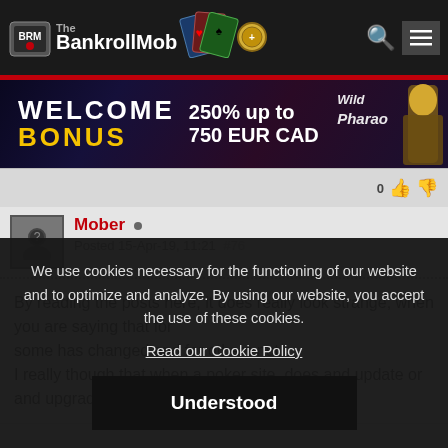The BankrollMob
[Figure (illustration): Casino banner ad: WELCOME BONUS 250% up to 750 EUR CAD, Wild Pharao branding]
0 [thumbs up] [thumbs down]
Mober • Posted 15-Apr-19, 11:21 #76
By reading the posts here, it does really look strange, when you are saying that for
some has changed and for others not.
I really though that when a poker site, does and update or and upgrade,
We use cookies necessary for the functioning of our website and to optimize and analyze. By using our website, you accept the use of these cookies.
Read our Cookie Policy
Understood